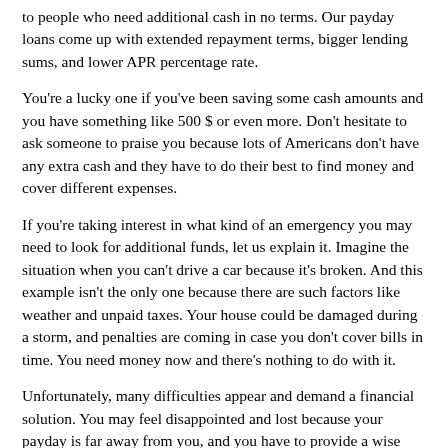to people who need additional cash in no terms. Our payday loans come up with extended repayment terms, bigger lending sums, and lower APR percentage rate.
You're a lucky one if you've been saving some cash amounts and you have something like 500 $ or even more. Don't hesitate to ask someone to praise you because lots of Americans don't have any extra cash and they have to do their best to find money and cover different expenses.
If you're taking interest in what kind of an emergency you may need to look for additional funds, let us explain it. Imagine the situation when you can't drive a car because it's broken. And this example isn't the only one because there are such factors like weather and unpaid taxes. Your house could be damaged during a storm, and penalties are coming in case you don't cover bills in time. You need money now and there's nothing to do with it.
Unfortunately, many difficulties appear and demand a financial solution. You may feel disappointed and lost because your payday is far away from you, and you have to provide a wise decision somehow. You have to find cash to cope with the utility bills, buy meals, and improve health. Around 60 % of Americans are just like you and they're searching an effective way to get rid of all these financial cracks.